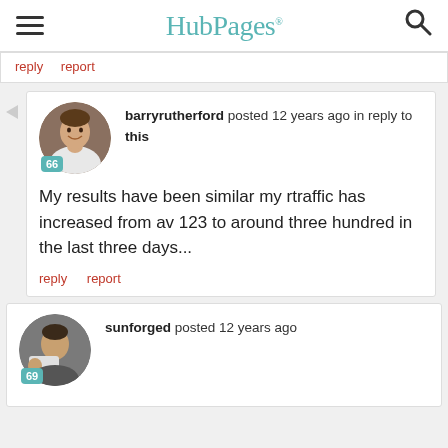HubPages
reply   report
barryrutherford posted 12 years ago in reply to this

My results have been similar my rtraffic has increased from av 123 to around three hundred in the last three days...

reply   report
sunforged posted 12 years ago